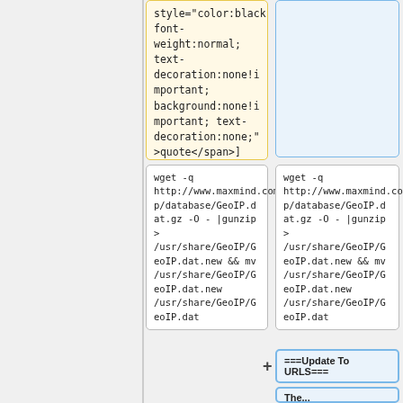style="color:black; font-weight:normal; text-decoration:none!important; background:none!important; text-decoration:none;">quote</span>]
wget -q http://www.maxmind.com/download/geoip/database/GeoIP.dat.gz -O - |gunzip > /usr/share/GeoIP/GeoIP.dat.new && mv /usr/share/GeoIP/GeoIP.dat.new /usr/share/GeoIP/GeoIP.dat
wget -q http://www.maxmind.com/download/geoip/database/GeoIP.dat.gz -O - |gunzip > /usr/share/GeoIP/GeoIP.dat.new && mv /usr/share/GeoIP/GeoIP.dat.new /usr/share/GeoIP/GeoIP.dat
===Update To URLS===